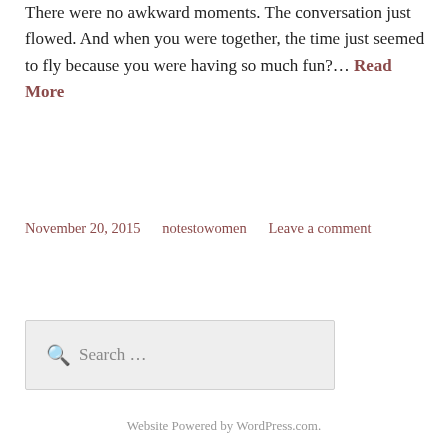There were no awkward moments.  The conversation just flowed.  And when you were together, the time just seemed to fly because you were having so much fun?…  Read More
November 20, 2015    notestowomen    Leave a comment
Search …
Website Powered by WordPress.com.